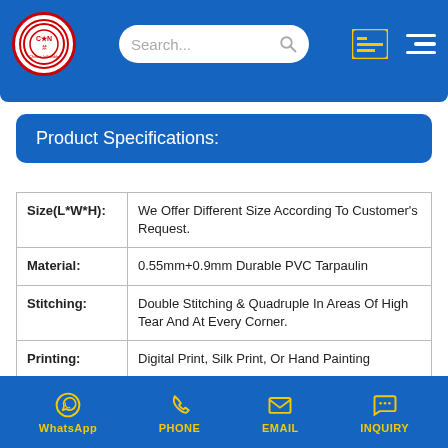Chinee Inflatable — navigation header with logo, search bar, list icon, and hamburger menu
Product Specifications:
| Field | Value |
| --- | --- |
| Size(L*W*H): | We Offer Different Size According To Customer's Request. |
| Material: | 0.55mm+0.9mm Durable PVC Tarpaulin |
| Stitching: | Double Stitching & Quadruple In Areas Of High Tear And At Every Corner. |
| Printing: | Digital Print, Silk Print, Or Hand Painting |
| Blower: | CE Or UL For Different Area Using, Plug Can Also Be Customized. |
| Deflation: | Heavy Duty Quickly Deflation Zips. |
WhatsApp | PHONE | EMAIL | INQUIRY